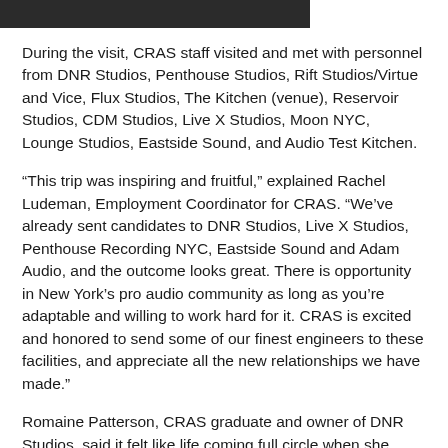[Figure (other): Dark decorative bar at top of page]
During the visit, CRAS staff visited and met with personnel from DNR Studios, Penthouse Studios, Rift Studios/Virtue and Vice, Flux Studios, The Kitchen (venue), Reservoir Studios, CDM Studios, Live X Studios, Moon NYC, Lounge Studios, Eastside Sound, and Audio Test Kitchen.
“This trip was inspiring and fruitful,” explained Rachel Ludeman, Employment Coordinator for CRAS. “We’ve already sent candidates to DNR Studios, Live X Studios, Penthouse Recording NYC, Eastside Sound and Adam Audio, and the outcome looks great. There is opportunity in New York’s pro audio community as long as you’re adaptable and willing to work hard for it. CRAS is excited and honored to send some of our finest engineers to these facilities, and appreciate all the new relationships we have made.”
Romaine Patterson, CRAS graduate and owner of DNR Studios, said it felt like life coming full circle when she could open the doors of DNR Studios to CRAS. “The education they provided enabled me to create this space,” she said. “The only thing better